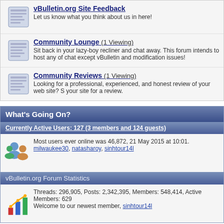vBulletin.org Site Feedback - Let us know what you think about us in here!
Community Lounge (1 Viewing) - Sit back in your lazy-boy recliner and chat away. This forum intends to host any of chat except vBulletin and modification issues!
Community Reviews (1 Viewing) - Looking for a professional, experienced, and honest review of your web site? S your site for a review.
What's Going On?
Currently Active Users: 127 (3 members and 124 guests)
Most users ever online was 46,872, 21 May 2015 at 10:01. milwaukee30, natasharoy, sinhtour14l
vBulletin.org Forum Statistics
Threads: 296,905, Posts: 2,342,395, Members: 548,414, Active Members: 629 Welcome to our newest member, sinhtour14l
New To Site?
About vBulletin.org
You will need to register to Participate
Review Our Site Rules